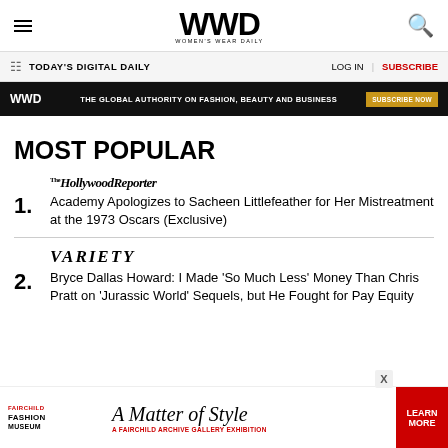WWD WOMEN'S WEAR DAILY
TODAY'S DIGITAL DAILY | LOG IN | SUBSCRIBE
[Figure (infographic): WWD ad banner: THE GLOBAL AUTHORITY ON FASHION, BEAUTY AND BUSINESS — SUBSCRIBE NOW]
MOST POPULAR
1. Academy Apologizes to Sacheen Littlefeather for Her Mistreatment at the 1973 Oscars (Exclusive)
2. Bryce Dallas Howard: I Made 'So Much Less' Money Than Chris Pratt on 'Jurassic World' Sequels, but He Fought for Pay Equity
[Figure (infographic): Fairchild Fashion Museum ad: A Matter of Style — A Fairchild Archive Gallery Exhibition — LEARN MORE]